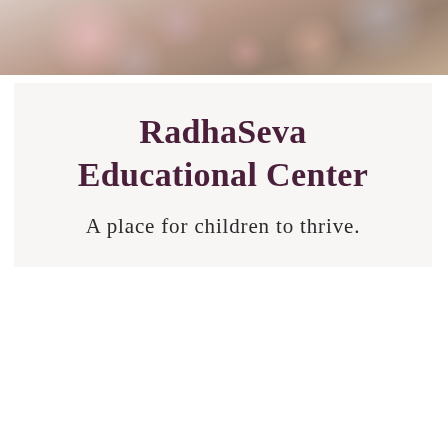[Figure (photo): A child wearing a floral-patterned outfit, partially visible at the top of the page, cropped close.]
RadhaSeva Educational Center
A place for children to thrive.